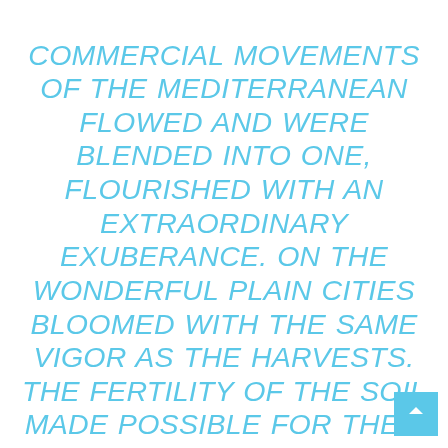COMMERCIAL MOVEMENTS OF THE MEDITERRANEAN FLOWED AND WERE BLENDED INTO ONE, FLOURISHED WITH AN EXTRAORDINARY EXUBERANCE. ON THE WONDERFUL PLAIN CITIES BLOOMED WITH THE SAME VIGOR AS THE HARVESTS. THE FERTILITY OF THE SOIL MADE POSSIBLE FOR THEM AN UNLIMITED EXPANSION, AND AT THE SAME TIME THE EASE OF OBTAINING MARKETS FAVORED BOTH THE IMPORTATION OF RAW MATERIALS AND THE EXPORTATION OF MANUFACTURED PRODUCTS.